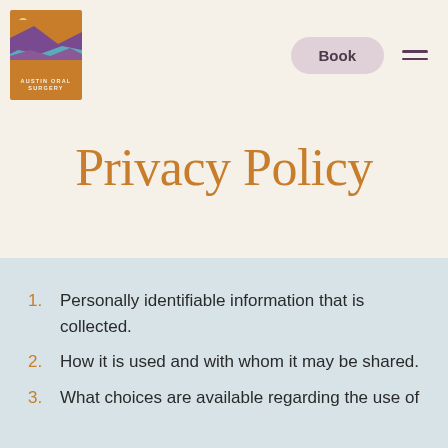[Figure (logo): Austin Oral Surgery logo — orange/brown box with desert landscape illustration and text 'AUSTIN ORAL SURGERY' at bottom]
Privacy Policy
Personally identifiable information that is collected.
How it is used and with whom it may be shared.
What choices are available regarding the use of